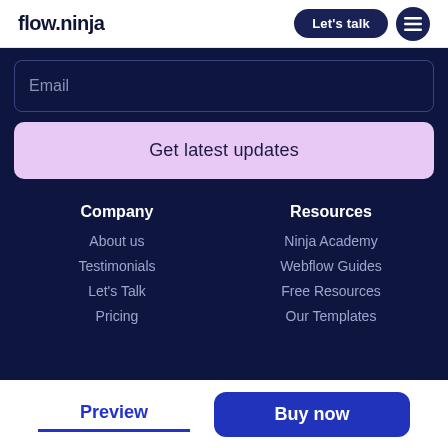flow.ninja | Let's talk | menu
Email
Get latest updates
Company
About us
Testimonials
Let's Talk
Pricing
Resources
Ninja Academy
Webflow Guides
Free Resources
Our Templates
Preview | Buy now